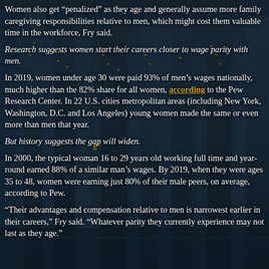Women also get “penalized” as they age and generally assume more family caregiving responsibilities relative to men, which might cost them valuable time in the workforce, Fry said.
Research suggests women start their careers closer to wage parity with men.
In 2019, women under age 30 were paid 93% of men’s wages nationally, much higher than the 82% share for all women, according to the Pew Research Center. In 22 U.S. cities metropolitan areas (including New York, Washington, D.C. and Los Angeles) young women made the same or even more than men that year.
But history suggests the gap will widen.
In 2000, the typical woman 16 to 29 years old working full time and year-round earned 88% of a similar man’s wages. By 2019, when they were ages 35 to 48, women were earning just 80% of their male peers, on average, according to Pew.
“Their advantages and compensation relative to men is narrowest earlier in their careers,” Fry said. “Whatever parity they currently experience may not last as they age.”